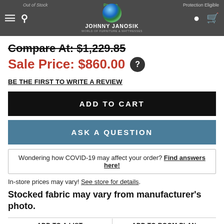Out of Stock | Promo Eligible | Protection Eligible | Johnny Janosik - World of Furniture & Mattresses
Compare At: $1,229.85
Sale Price: $860.00
BE THE FIRST TO WRITE A REVIEW
ADD TO CART
ASK A QUESTION
Wondering how COVID-19 may affect your order? Find answers here!
In-store prices may vary! See store for details.
Stocked fabric may vary from manufacturer's photo.
ADD TO A LIST
ADD TO ROOM PLAN